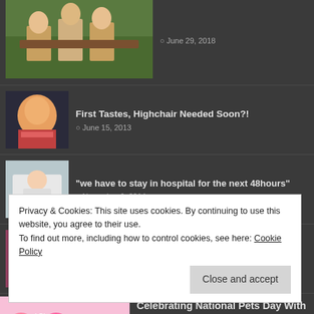[Figure (photo): Partial top item with thumbnail of people sitting on a bench outdoors, date June 29, 2018]
First Tastes, Highchair Needed Soon?! — June 15, 2013
“we have to stay in hospital for the next 48hours” — November 6, 2014
“It’s definitely the cold/flu season” — November 19, 2013
Celebrating National Pets Day With L.O.L Surprise Lights Pets — April 11, 2019
Privacy & Cookies: This site uses cookies. By continuing to use this website, you agree to their use.
To find out more, including how to control cookies, see here: Cookie Policy
Close and accept